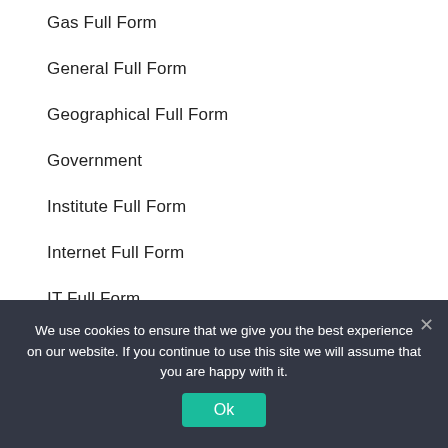Gas Full Form
General Full Form
Geographical Full Form
Government
Institute Full Form
Internet Full Form
IT Full Form
Medical Full Form
Network Full Form
We use cookies to ensure that we give you the best experience on our website. If you continue to use this site we will assume that you are happy with it.